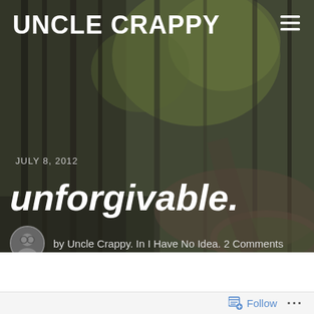[Figure (photo): Forest scene with tall trees and green foliage, muted/desaturated color tones, serving as hero background image for a blog post]
UNCLE CRAPPY
JULY 8, 2012
unforgivable.
by Uncle Crappy. In I Have No Idea. 2 Comments
Follow ...